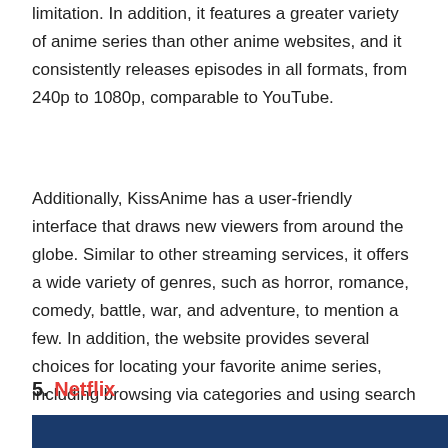limitation. In addition, it features a greater variety of anime series than other anime websites, and it consistently releases episodes in all formats, from 240p to 1080p, comparable to YouTube.
Additionally, KissAnime has a user-friendly interface that draws new viewers from around the globe. Similar to other streaming services, it offers a wide variety of genres, such as horror, romance, comedy, battle, war, and adventure, to mention a few. In addition, the website provides several choices for locating your favorite anime series, including browsing via categories and using search functions that require the title to be entered.
5. Netflix
[Figure (photo): Dark blue banner/image strip at the bottom of the page]